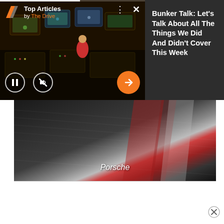[Figure (screenshot): Video player widget showing a newsroom scene. Top bar has The Drive logo, 'Top Articles by The Drive'. Dots menu and X close button. Player controls: pause button, mute button, orange next arrow button. Progress bar at top.]
Bunker Talk: Let’s Talk About All The Things We Did And Didn’t Cover This Week
[Figure (photo): Close-up photo of what appears to be a Porsche car surface, dark metallic material with red accent. Caption reads 'Porsche' in italic white text.]
Porsche